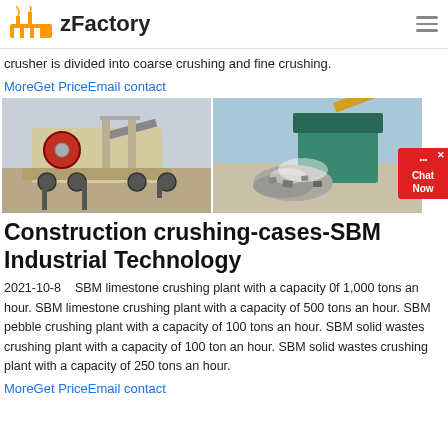zFactory
crusher is divided into coarse crushing and fine crushing.
MoreGet PriceEmail contact
[Figure (photo): Two photos side by side: left shows a mobile jaw crusher on a trailer in an open field; right shows a crushing machine actively crushing gravel/stone material on a construction site.]
Construction crushing-cases-SBM Industrial Technology
2021-10-8    SBM limestone crushing plant with a capacity 0f 1,000 tons an hour. SBM limestone crushing plant with a capacity of 500 tons an hour. SBM pebble crushing plant with a capacity of 100 tons an hour. SBM solid wastes crushing plant with a capacity of 100 ton an hour. SBM solid wastes crushing plant with a capacity of 250 tons an hour.
MoreGet PriceEmail contact